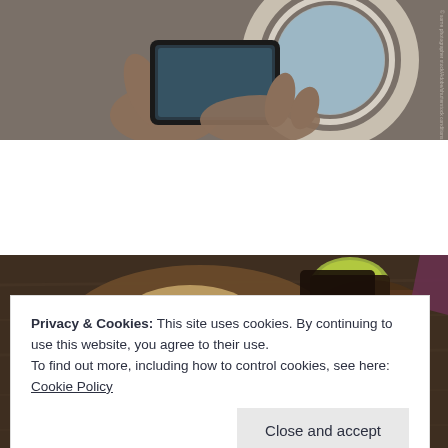[Figure (photo): Hands holding a smartphone photographing through an airplane window, with circular window surround visible]
[Figure (photo): Overhead view of a charcuterie/food board with bread, nuts, cheese, and a small bowl of sauce on a dark wooden surface]
Privacy & Cookies: This site uses cookies. By continuing to use this website, you agree to their use.
To find out more, including how to control cookies, see here: Cookie Policy
Close and accept